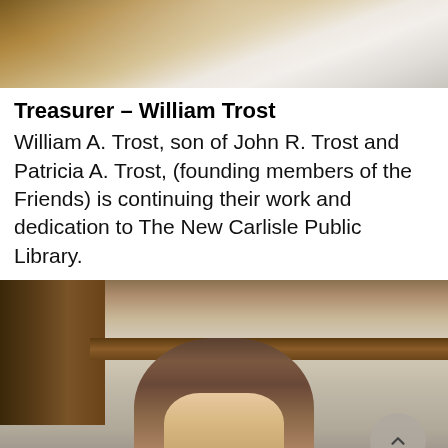[Figure (photo): Top portion of a photo showing what appears to be a person in a white shirt, cropped at the top of the page. Warm brown wooden background visible.]
Treasurer – William Trost
William A. Trost, son of John R. Trost and Patricia A. Trost, (founding members of the Friends) is continuing their work and dedication to The New Carlisle Public Library.
[Figure (photo): Photo of a woman with brown hair and glasses, seen from the shoulders up, inside what appears to be a room with beige tile walls and brown wooden cabinets. A circular scroll-up button is visible in the lower right corner of the photo.]